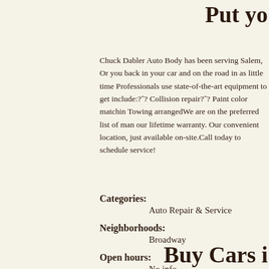Put yo
Chuck Dabler Auto Body has been serving Salem, Or you back in your car and on the road in as little time Professionals use state-of-the-art equipment to get include:?^? Collision repair?^? Paint color matchin Towing arrangedWe are on the preferred list of man our lifetime warranty. Our convenient location, just available on-site.Call today to schedule service!
Categories:
Auto Repair & Service
Neighborhoods:
Broadway
Open hours:
No info
[Figure (photo): Broken image placeholder icon]
Buy Cars i